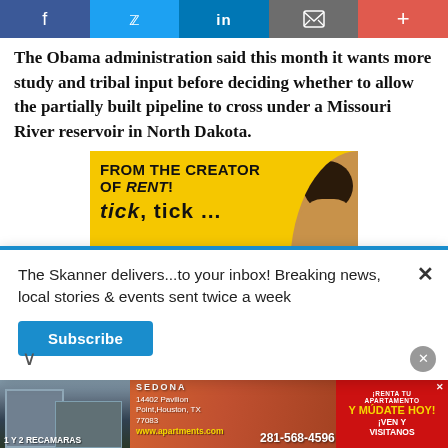[Figure (screenshot): Social media sharing bar with Facebook, Twitter, LinkedIn, email, and plus buttons]
The Obama administration said this month it wants more study and tribal input before deciding whether to allow the partially built pipeline to cross under a Missouri River reservoir in North Dakota.
[Figure (photo): Yellow advertisement banner: FROM THE CREATOR OF RENT! tick, tick... with person's head visible]
The Skanner delivers...to your inbox! Breaking news, local stories & events sent twice a week
Subscribe
[Figure (photo): Sedona Apartments advertisement with building photo, address 14402 Pavilion Point, Houston, TX 77083, phone 281-568-4596, 1 Y 2 RECAMARAS, www.apartments.com, RENTA TU APARTAMENTO Y MUDATE HOY! iVEN Y VISITANOS]